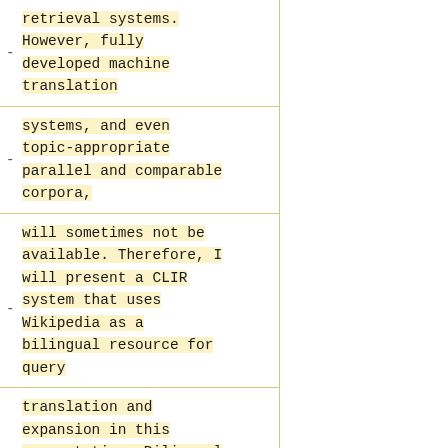retrieval systems. However, fully developed machine translation
systems, and even topic-appropriate parallel and comparable corpora,
will sometimes not be available. Therefore, I will present a CLIR system that uses Wikipedia as a bilingual resource for query
translation and expansion in this presentation. Bilingual word lists including bilingual pairs, same-